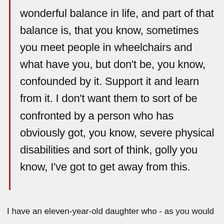wonderful balance in life, and part of that balance is, that you know, sometimes you meet people in wheelchairs and what have you, but don't be, you know, confounded by it. Support it and learn from it. I don't want them to sort of be confronted by a person who has obviously got, you know, severe physical disabilities and sort of think, golly you know, I've got to get away from this.
I have an eleven-year-old daughter who - as you would